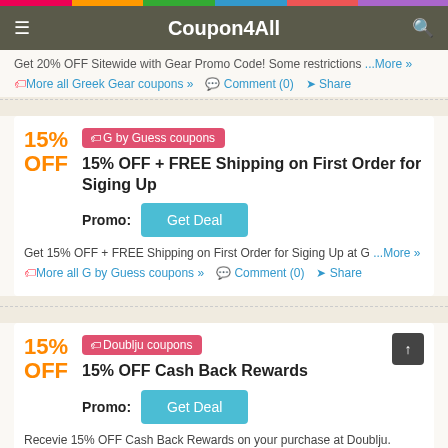Coupon4All
Get 20% OFF Sitewide with Gear Promo Code! Some restrictions ...More »
More all Greek Gear coupons »   Comment (0)   Share
G by Guess coupons
15% OFF + FREE Shipping on First Order for Siging Up
Promo: Get Deal
Get 15% OFF + FREE Shipping on First Order for Siging Up at G ...More »
More all G by Guess coupons »   Comment (0)   Share
Doublju coupons
15% OFF Cash Back Rewards
Promo: Get Deal
Recevie 15% OFF Cash Back Rewards on your purchase at Doublju.